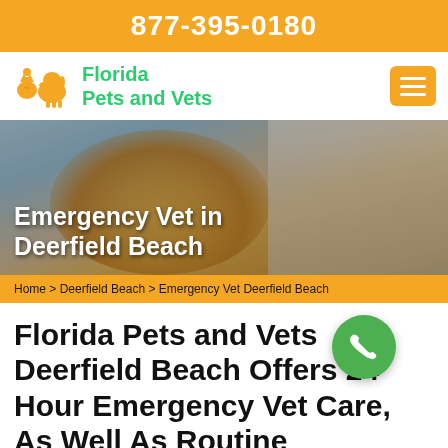877-395-0180
[Figure (logo): Florida Pets and Vets logo with orange animal silhouettes and green text]
[Figure (photo): Hero image showing a golden retriever with tongue out and a veterinarian holding a cat in the background]
Emergency Vet in Deerfield Beach
Home > Deerfield Beach > Emergency Vet Deerfield Beach
Florida Pets and Vets Deerfield Beach Offers 24 Hour Emergency Vet Care, As Well As Routine Veterinary Services For Your